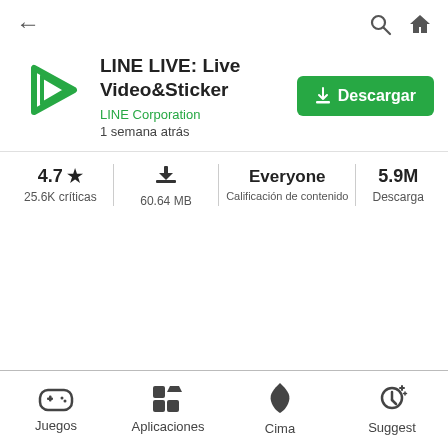[Figure (screenshot): App store listing screenshot showing LINE LIVE app with navigation bar, app icon, title, download button, stats, and bottom navigation]
← (back arrow)
🔍 🏠 (search and home icons)
[Figure (logo): LINE LIVE green triangular play button logo]
LINE LIVE: Live Video&Sticker
LINE Corporation
1 semana atrás
Descargar
4.7 ★
25.6K críticas
60.64 MB
Everyone
Calificación de contenido
5.9M
Descarga
Juegos
Aplicaciones
Cima
Suggest